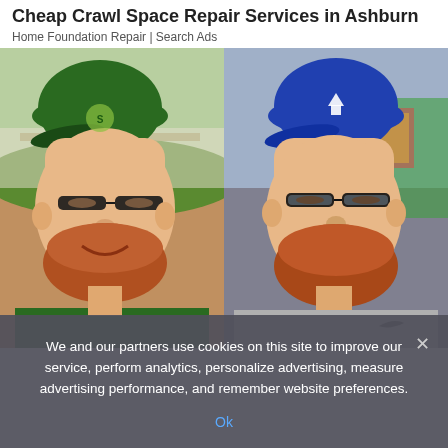Cheap Crawl Space Repair Services in Ashburn
Home Foundation Repair | Search Ads
[Figure (photo): Side-by-side photos of two men wearing baseball caps and glasses with red beards. Left man wears a green team jersey and green cap with a logo, smiling at a baseball field. Right man wears a gray Nike shirt and blue team cap, looking serious, with a colorful background.]
We and our partners use cookies on this site to improve our service, perform analytics, personalize advertising, measure advertising performance, and remember website preferences.
Ok